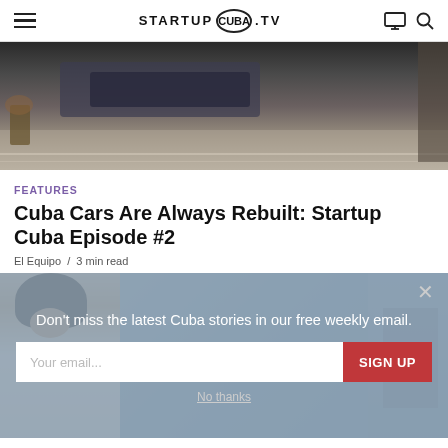STARTUP CUBA .TV
[Figure (photo): Dark street scene in Cuba showing a classic car and urban environment]
FEATURES
Cuba Cars Are Always Rebuilt: Startup Cuba Episode #2
El Equipo / 3 min read
[Figure (photo): Woman with curly hair wearing white shirt, overlaid with email signup modal: 'Don't miss the latest Cuba stories in our free weekly email.' with email input field and SIGN UP button and No thanks link]